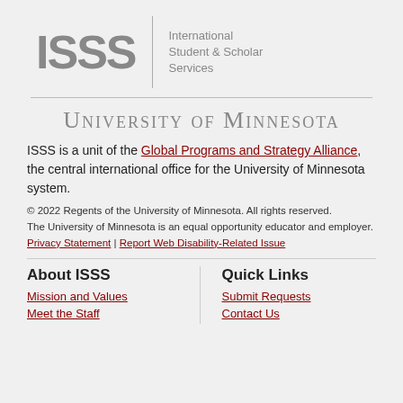[Figure (logo): ISSS logo with vertical divider and text 'International Student & Scholar Services']
University of Minnesota
ISSS is a unit of the Global Programs and Strategy Alliance, the central international office for the University of Minnesota system.
© 2022 Regents of the University of Minnesota. All rights reserved. The University of Minnesota is an equal opportunity educator and employer.
Privacy Statement | Report Web Disability-Related Issue
About ISSS
Mission and Values
Meet the Staff
Quick Links
Submit Requests
Contact Us